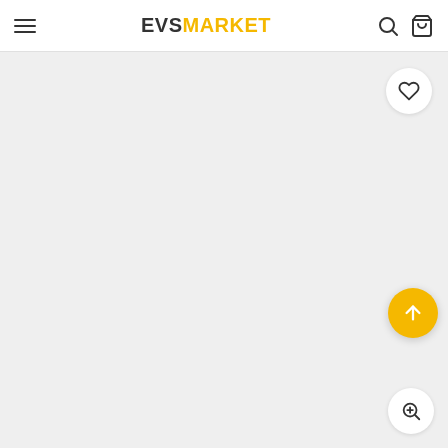EVS MARKET navigation header with hamburger menu, logo, search and cart icons
[Figure (screenshot): Product image area with light gray background, wishlist heart button, scroll-to-top yellow button, and zoom button]